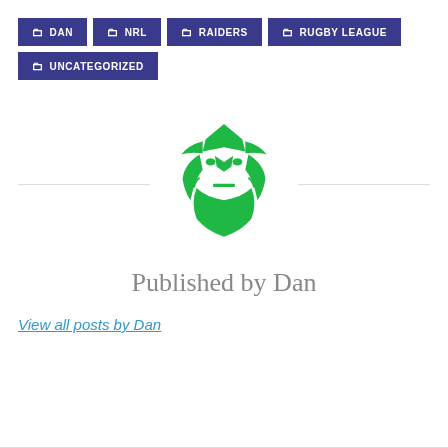DAN
NRL
RAIDERS
RUGBY LEAGUE
UNCATEGORIZED
[Figure (logo): Canberra Raiders green logo - a stylized robotic/mechanical bearded face resembling the Raiders mascot]
Published by Dan
View all posts by Dan